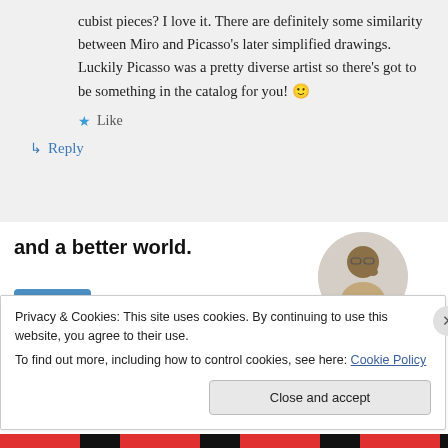cubist pieces? I love it. There are definitely some similarity between Miro and Picasso's later simplified drawings. Luckily Picasso was a pretty diverse artist so there's got to be something in the catalog for you! 🙂
★ Like
↳ Reply
and a better world.
[Figure (other): Apply button (blue/teal rectangular button with white text 'Apply') and circular photo of a man thinking with hand on chin]
Privacy & Cookies: This site uses cookies. By continuing to use this website, you agree to their use.
To find out more, including how to control cookies, see here: Cookie Policy
Close and accept